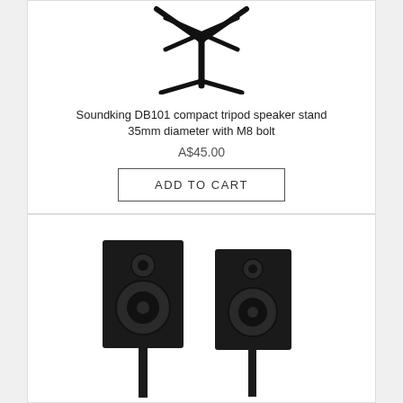[Figure (photo): Photo of a black compact tripod speaker stand (Soundking DB101) showing the top X-brace and legs on a white background]
Soundking DB101 compact tripod speaker stand 35mm diameter with M8 bolt
A$45.00
ADD TO CART
[Figure (photo): Photo of two black bookshelf speakers mounted on stands, viewed from the front on a white background]